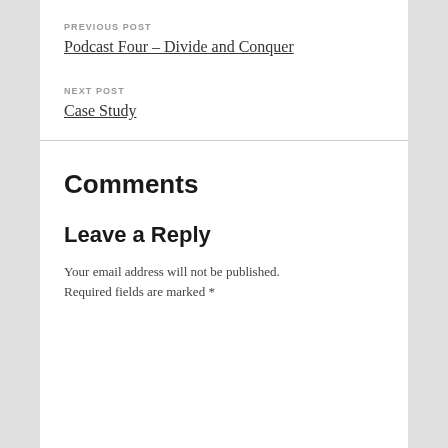PREVIOUS POST
Podcast Four – Divide and Conquer
NEXT POST
Case Study
Comments
Leave a Reply
Your email address will not be published. Required fields are marked *